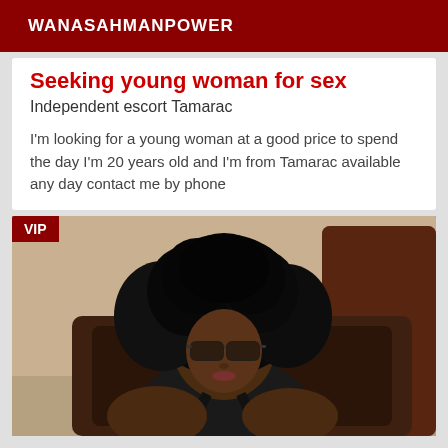WANASAHMANPOWER
Seeking young woman for sex
Independent escort Tamarac
I'm looking for a young woman at a good price to spend the day I'm 20 years old and I'm from Tamarac available any day contact me by phone
[Figure (photo): Woman with curly hair and sunglasses seated in a leather chair, wearing a dark outfit. VIP badge in top left corner.]